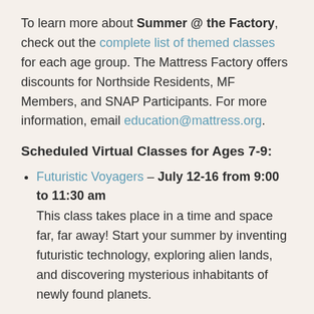To learn more about Summer @ the Factory, check out the complete list of themed classes for each age group. The Mattress Factory offers discounts for Northside Residents, MF Members, and SNAP Participants. For more information, email education@mattress.org.
Scheduled Virtual Classes for Ages 7-9:
Futuristic Voyagers – July 12-16 from 9:00 to 11:30 am. This class takes place in a time and space far, far away! Start your summer by inventing futuristic technology, exploring alien lands, and discovering mysterious inhabitants of newly found planets.
FUN Zone – July 19-23 from 1:00 to 3:30 pm. Avoid long car rides and even longer lines. In this class, students will create their own attractions